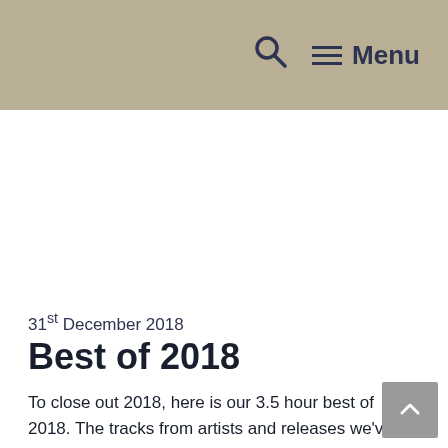🔍 ☰ Menu
31st December 2018
Best of 2018
To close out 2018, here is our 3.5 hour best of 2018. The tracks from artists and releases we've loved through this fantastic year. In ... Read more